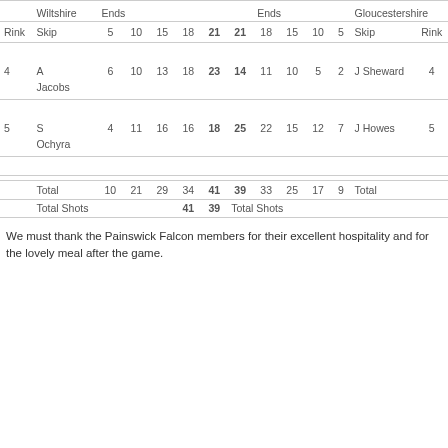| Rink | Wiltshire Skip | 5 | 10 | 15 | 18 | 21 | 21 | 18 | 15 | 10 | 5 | Gloucestershire Skip | Rink |
| --- | --- | --- | --- | --- | --- | --- | --- | --- | --- | --- | --- | --- | --- |
| 4 | A Jacobs | 6 | 10 | 13 | 18 | 23 | 14 | 11 | 10 | 5 | 2 | J Sheward | 4 |
| 5 | S Ochyra | 4 | 11 | 16 | 16 | 18 | 25 | 22 | 15 | 12 | 7 | J Howes | 5 |
|  | Total | 10 | 21 | 29 | 34 | 41 | 39 | 33 | 25 | 17 | 9 | Total |  |
|  | Total Shots |  |  |  |  | 41 | 39 | Total Shots |  |  |  |  |  |
We must thank the Painswick Falcon members for their excellent hospitality and for the lovely meal after the game.